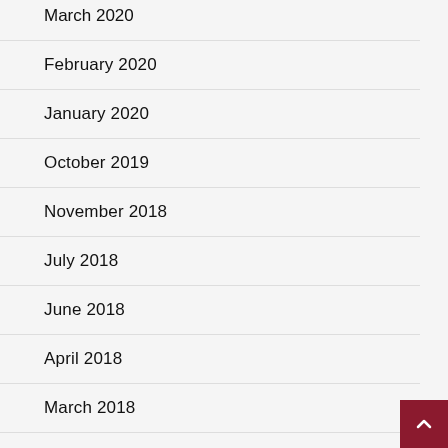March 2020
February 2020
January 2020
October 2019
November 2018
July 2018
June 2018
April 2018
March 2018
December 2017